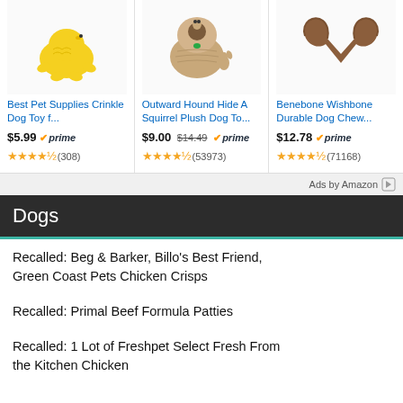[Figure (screenshot): Three Amazon product ad cards: Best Pet Supplies Crinkle Dog Toy, Outward Hound Hide A Squirrel Plush Dog Toy, and Benebone Wishbone Durable Dog Chew with prices, Prime badges, and star ratings]
Ads by Amazon
Dogs
Recalled: Beg & Barker, Billo's Best Friend, Green Coast Pets Chicken Crisps
Recalled: Primal Beef Formula Patties
Recalled: 1 Lot of Freshpet Select Fresh From the Kitchen Chicken